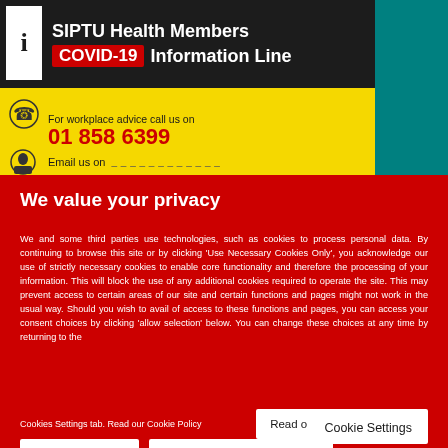[Figure (infographic): SIPTU Health Members COVID-19 Information Line banner. Black top section with white 'i' icon, text 'SIPTU Health Members COVID-19 Information Line'. Yellow section with telephone icon showing 'For workplace advice call us on 01 858 6399'. Below that 'Email us on' with partial email address.]
We value your privacy
We and some third parties use technologies, such as cookies to process personal data. By continuing to browse this site or by clicking 'Use Necessary Cookies Only', you acknowledge our use of strictly necessary cookies to enable core functionality and therefore the processing of your information. This will block the use of any additional cookies required to operate the site. This may prevent access to certain areas of our site and certain functions and pages might not work in the usual way. Should you wish to avail of access to these functions and pages, you can access your consent choices by clicking 'allow selection' below. You can change these choices at any time by returning to the Cookies Settings tab. Read our Cookie Policy
Read our Privacy Statement
Allow selection
Use necessary cookie only
Cookie Settings